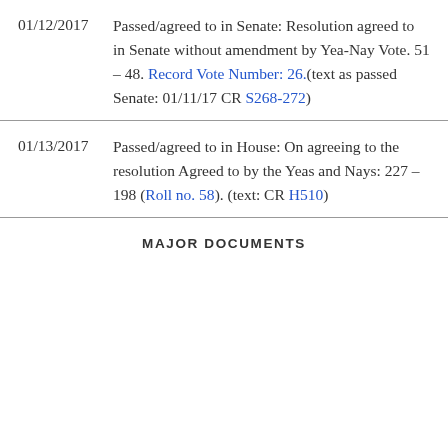01/12/2017  Passed/agreed to in Senate: Resolution agreed to in Senate without amendment by Yea-Nay Vote. 51 – 48. Record Vote Number: 26.(text as passed Senate: 01/11/17 CR S268-272)
01/13/2017  Passed/agreed to in House: On agreeing to the resolution Agreed to by the Yeas and Nays: 227 – 198 (Roll no. 58). (text: CR H510)
MAJOR DOCUMENTS